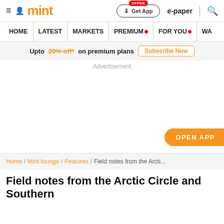mint | Get App | e-paper
HOME | LATEST | MARKETS | PREMIUM | FOR YOU | WA
Upto 20% off* on premium plans   Subscribe Now
Advertisement
OPEN APP
Home / Mint-lounge / Features / Field notes from the Arcti...
Field notes from the Arctic Circle and Southern